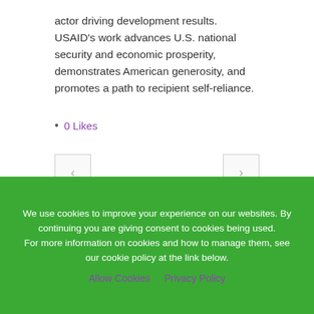actor driving development results. USAID's work advances U.S. national security and economic prosperity, demonstrates American generosity, and promotes a path to recipient self-reliance.
0 Likes
[Figure (other): Navigation buttons: left arrow button and right arrow button]
Sorry, the comment form is closed at this
We use cookies to improve your experience on our websites. By continuing you are giving consent to cookies being used. For more information on cookies and how to manage them, see our cookie policy at the link below.
Allow Cookies   Privacy Policy